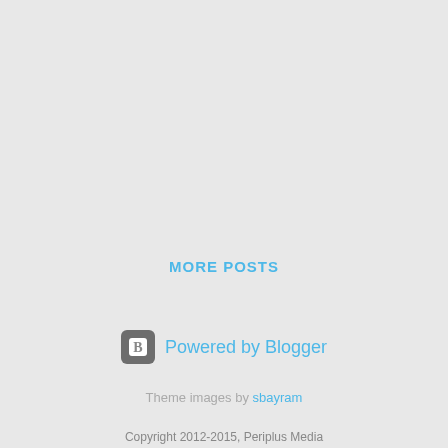MORE POSTS
[Figure (logo): Powered by Blogger logo with orange B icon and blue text]
Theme images by sbayram
Copyright 2012-2015, Periplus Media